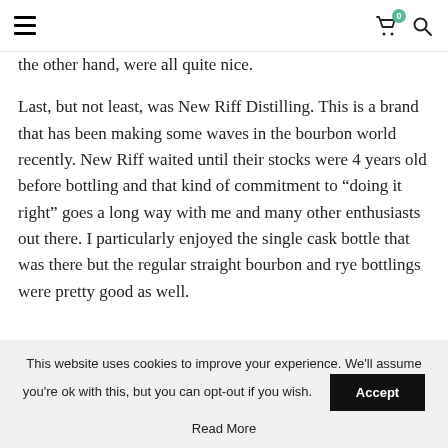Navigation header with hamburger menu, cart icon (badge: 0), and search icon
the other hand, were all quite nice.
Last, but not least, was New Riff Distilling. This is a brand that has been making some waves in the bourbon world recently. New Riff waited until their stocks were 4 years old before bottling and that kind of commitment to “doing it right” goes a long way with me and many other enthusiasts out there. I particularly enjoyed the single cask bottle that was there but the regular straight bourbon and rye bottlings were pretty good as well.
When all was said and done, I found myself gravitating back to
This website uses cookies to improve your experience. We'll assume you're ok with this, but you can opt-out if you wish.
Accept
Read More